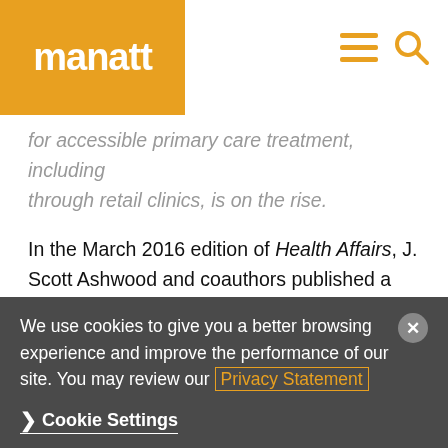manatt
for accessible primary care treatment, including through retail clinics, is on the rise.
In the March 2016 edition of Health Affairs, J. Scott Ashwood and coauthors published a study that addressed the impact on spending related to the use of retail clinics. The researchers found that 58 percent of retail clinic visits represent new utilization rather than substitution for more costly primary care or emergency department visits. The net cost of this
We use cookies to give you a better browsing experience and improve the performance of our site. You may review our Privacy Statement
Cookie Settings